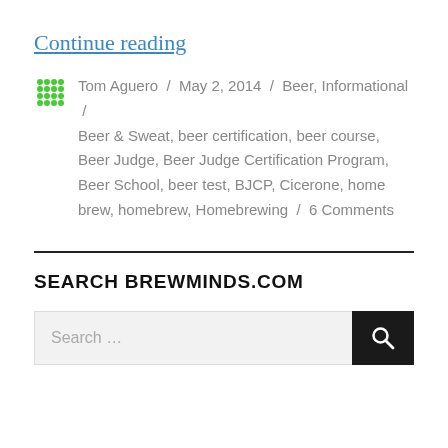Continue reading
Tom Aguero / May 2, 2014 / Beer, Informational / Beer & Sweat, beer certification, beer course, Beer Judge, Beer Judge Certification Program, Beer School, beer test, BJCP, Cicerone, home brew, homebrew, Homebrewing / 6 Comments
SEARCH BREWMINDS.COM
[Figure (screenshot): Search input box with placeholder text 'Search ...' and a dark search button with magnifying glass icon]